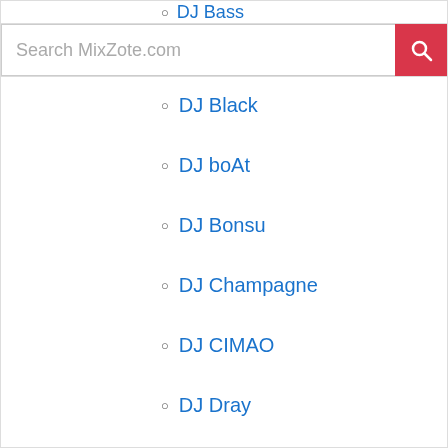DJ Bass
Search MixZote.com
DJ Black
DJ boAt
DJ Bonsu
DJ Champagne
DJ CIMAO
DJ Dray
DJ FLO
DJ Loft
DJ MASTER J
DJ MENSAH
DJ Mic Smith
DJ Pho
DJ Quest Gh
DJ Romeo Ghana